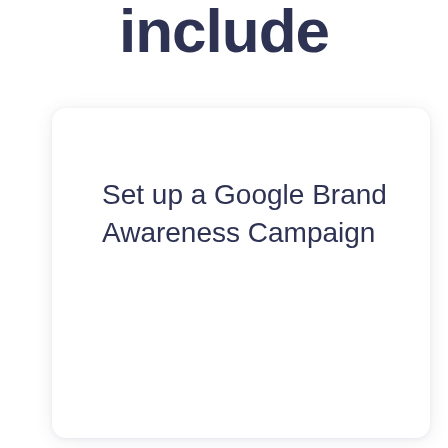include
Set up a Google Brand Awareness Campaign